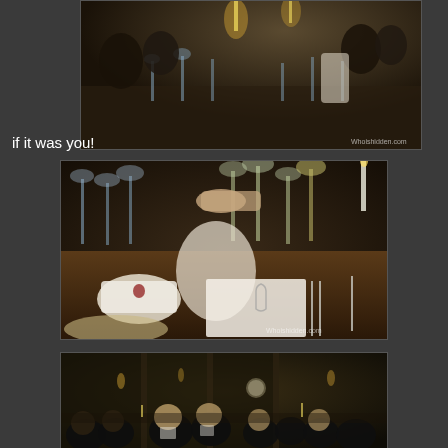[Figure (photo): Formal dinner scene with men in dark suits seated at a long candlelit table with crystal glassware and silverware, dark atmosphere]
if it was you!
[Figure (photo): Close-up of a formal dinner table setting with wine glasses, a white napkin, a coffee cup with crest, bread on a plate, a menu card with a shield/crest watermark, and hands gesturing above the table. Watermark: Whoishidden.com]
[Figure (photo): Wide shot of a grand formal dining hall with men in black tie/tuxedos seated at tables, candles lit, ornate wooden paneling and architecture in background]